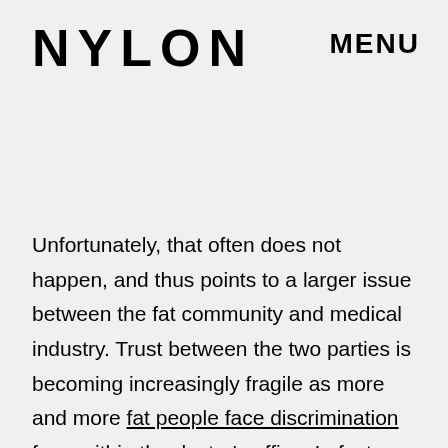NYLON
MENU
Unfortunately, that often does not happen, and thus points to a larger issue between the fat community and medical industry. Trust between the two parties is becoming increasingly fragile as more and more fat people face discrimination from within the doctor's office. In fact, fatphobia within the medical industry is so rampant, that it even can